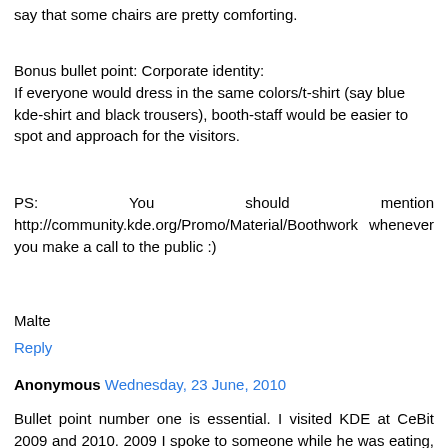say that some chairs are pretty comforting.
Bonus bullet point: Corporate identity:
If everyone would dress in the same colors/t-shirt (say blue kde-shirt and black trousers), booth-staff would be easier to spot and approach for the visitors.
PS:   You   should   mention http://community.kde.org/Promo/Material/Boothwork whenever you make a call to the public :)
Malte
Reply
Anonymous  Wednesday, 23 June, 2010
Bullet point number one is essential. I visited KDE at CeBit 2009 and 2010. 2009 I spoke to someone while he was eating, breadcrumbs on his lips and all. 2010 I did not